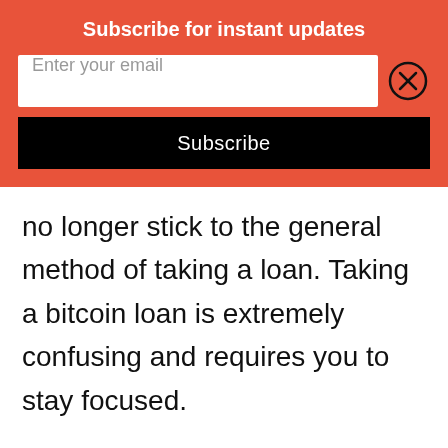Subscribe for instant updates
[Figure (screenshot): Email subscription widget with text input field showing 'Enter your email', a close button, and a black Subscribe button]
no longer stick to the general method of taking a loan. Taking a bitcoin loan is extremely confusing and requires you to stay focused.
There are several bitcoin loan providers who have played an important role in bringing the change.